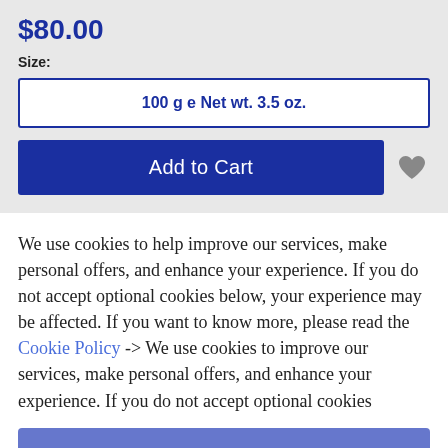$80.00
Size:
100 g e Net wt. 3.5 oz.
Add to Cart
We use cookies to help improve our services, make personal offers, and enhance your experience. If you do not accept optional cookies below, your experience may be affected. If you want to know more, please read the Cookie Policy -> We use cookies to improve our services, make personal offers, and enhance your experience. If you do not accept optional cookies
ACCEPT COOKIES
CUSTOM SETTINGS